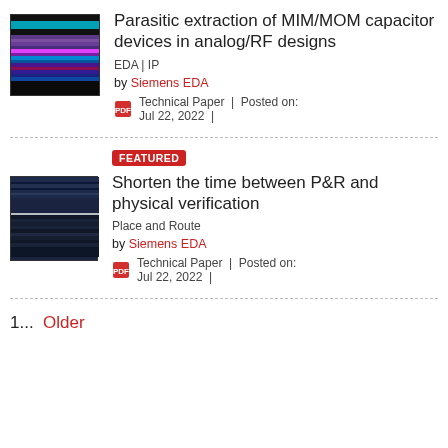[Figure (screenshot): Thumbnail image of MIM/MOM capacitor parasitic extraction document, dark background with colored bands]
Parasitic extraction of MIM/MOM capacitor devices in analog/RF designs
EDA | IP
by Siemens EDA
Technical Paper | Posted on: Jul 22, 2022
[Figure (screenshot): Thumbnail image for P&R and physical verification document, dark blue with horizontal lines]
FEATURED
Shorten the time between P&R and physical verification
Place and Route
by Siemens EDA
Technical Paper | Posted on: Jul 22, 2022
1...  Older